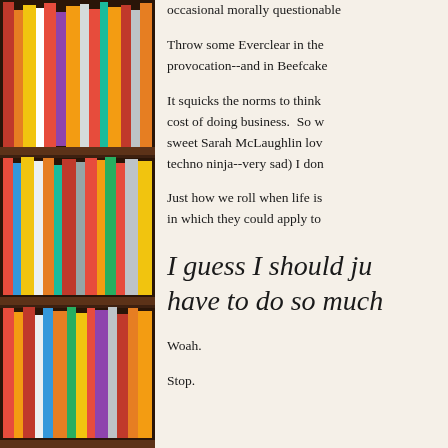[Figure (photo): Bookshelf with colorful books arranged on dark brown wooden shelves, spanning the left side of the page]
occasional morally questiona
Throw some Everclear in the provocation--and in Beefcake
It squicks the norms to think cost of doing business. So w sweet Sarah McLaughlin lov techno ninja--very sad) I don
Just how we roll when life is in which they could apply to
I guess I should ju have to do so much
Woah.
Stop.